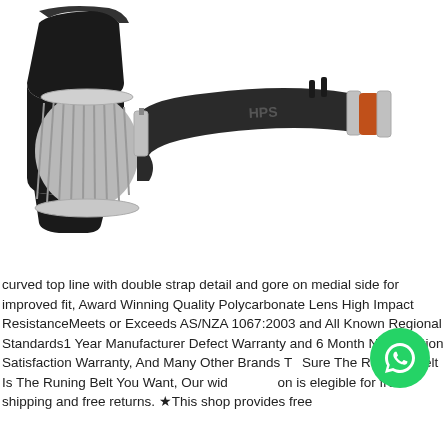[Figure (photo): Cold air intake system with black aluminum tube branded HPS, chrome clamps, and a cone-shaped dry air filter with chrome end cap, on white background]
curved top line with double strap detail and gore on medial side for improved fit, Award Winning Quality Polycarbonate Lens High Impact ResistanceMeets or Exceeds AS/NZA 1067:2003 and All Known Regional Standards1 Year Manufacturer Defect Warranty and 6 Month No Question Satisfaction Warranty, And Many Other Brands To Sure The Running Belt Is The Runing Belt You Want, Our wide selection is elegible for free shipping and free returns. ★This shop provides free